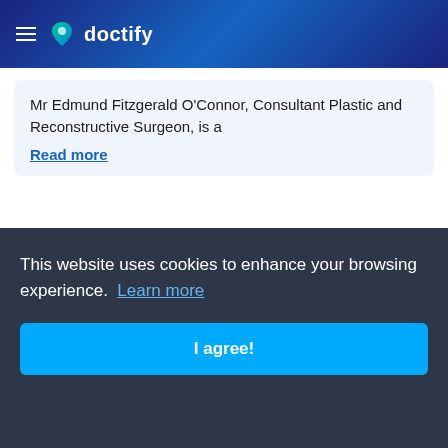doctify
Mr Edmund Fitzgerald O'Connor, Consultant Plastic and Reconstructive Surgeon, is a
Read more
[Figure (photo): Headshot of Mr Oliver Harley, a surgeon wearing surgical scrubs and a cap in an operating room setting]
Mr Oliver Harley
Plastic Surgery
4.98 (73)
This website uses cookies to enhance your browsing experience. Learn more
I agree!